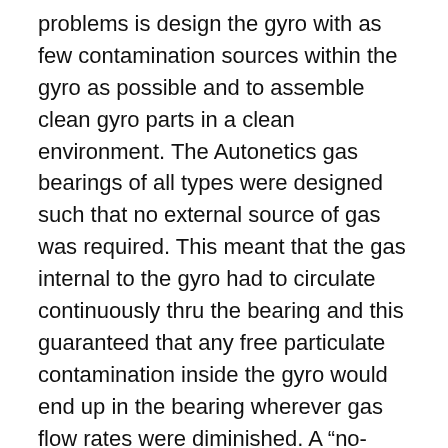problems is design the gyro with as few contamination sources within the gyro as possible and to assemble clean gyro parts in a clean environment. The Autonetics gas bearings of all types were designed such that no external source of gas was required. This meant that the gas internal to the gyro had to circulate continuously thru the bearing and this guaranteed that any free particulate contamination inside the gyro would end up in the bearing wherever gas flow rates were diminished. A “no-start” event was sure to follow.In the early years of gyro development and beyond, everyone seemed to have their own “secret sauce” gas bearing boundary lube. Such materials were applied to the gas bearing surfaces using methods that were as secret as the applied materials. The gyro engineers at Autonetics all had their favorite boundary lubes. The Autonetics boundary lube that finally